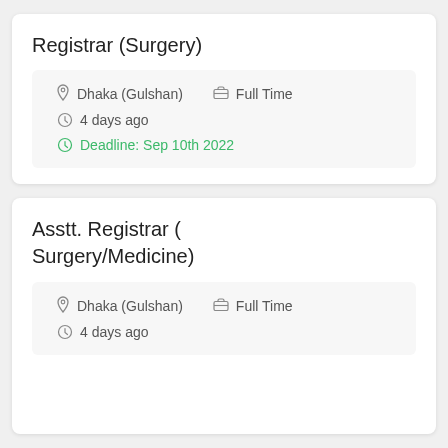Registrar (Surgery)
Dhaka (Gulshan)   Full Time
4 days ago
Deadline: Sep 10th 2022
Asstt. Registrar ( Surgery/Medicine)
Dhaka (Gulshan)   Full Time
4 days ago